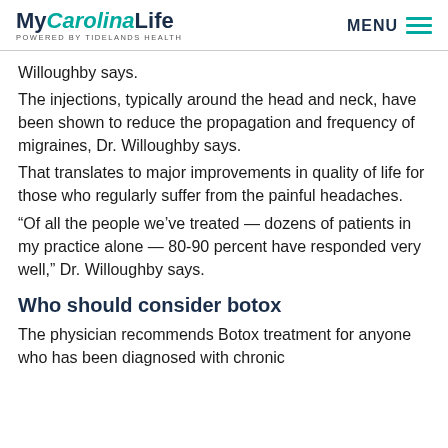MyCarolinaLife — POWERED BY TIDELANDS HEALTH — MENU
Willoughby says.
The injections, typically around the head and neck, have been shown to reduce the propagation and frequency of migraines, Dr. Willoughby says.
That translates to major improvements in quality of life for those who regularly suffer from the painful headaches.
“Of all the people we’ve treated — dozens of patients in my practice alone — 80-90 percent have responded very well,” Dr. Willoughby says.
Who should consider botox
The physician recommends Botox treatment for anyone who has been diagnosed with chronic